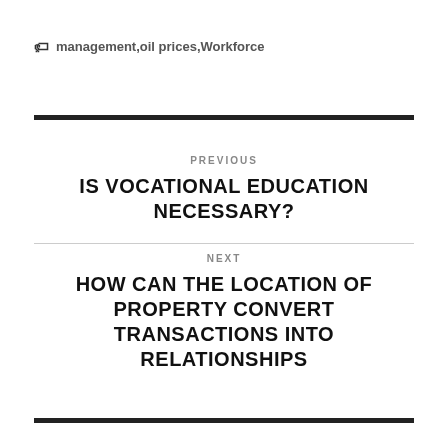management,oil prices,Workforce
PREVIOUS
IS VOCATIONAL EDUCATION NECESSARY?
NEXT
HOW CAN THE LOCATION OF PROPERTY CONVERT TRANSACTIONS INTO RELATIONSHIPS